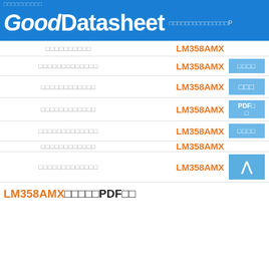GoodDatasheet
| Description | Part Number | Action |
| --- | --- | --- |
| □□□□□□□□□□ | LM358AMX |  |
| □□□□□□□□□□□□□ | LM358AMX | □□□□ |
| □□□□□□□□□□□□ | LM358AMX | □□□ |
| □□□□□□□□□□□□ | LM358AMX | PDF□□ |
| □□□□□□□□□□□□□ | LM358AMX | □□□□ |
| □□□□□□□□□□□□ | LM358AMX |  |
| □□□□□□□□□□□□□ | LM358AMX | ▲ |
LM358AMX　PDF下载